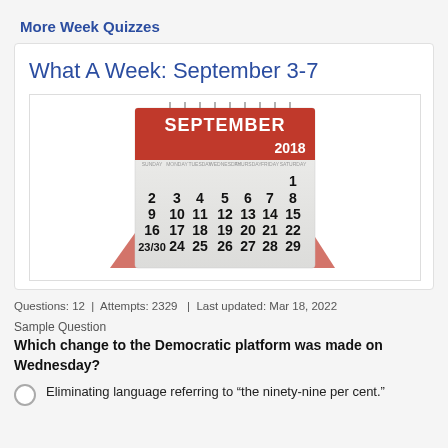More Week Quizzes
What A Week: September 3-7
[Figure (photo): A 3D rendered desk calendar showing September 2018, with dates 1-29 visible on a white background with a red header.]
Questions: 12  |  Attempts: 2329  |  Last updated: Mar 18, 2022
Sample Question
Which change to the Democratic platform was made on Wednesday?
Eliminating language referring to "the ninety-nine per cent."